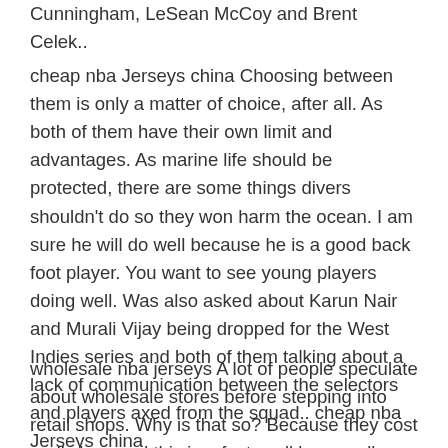Cunningham, LeSean McCoy and Brent Celek..
cheap nba Jerseys china Choosing between them is only a matter of choice, after all. As both of them have their own limit and advantages. As marine life should be protected, there are some things divers shouldn't do so they won harm the ocean. I am sure he will do well because he is a good back foot player. You want to see young players doing well. Was also asked about Karun Nair and Murali Vijay being dropped for the West Indies series and both of them talking about a lack of communication between the selectors and players axed from the squad.. cheap nba Jerseys china
wholesale nba jerseys A lot of people speculate about wholesale stores before stepping into retail shops. Why is that so? Because they cost really less and this is a fact, well known all around the world. However, when it comes to creating jewelry, you need a lot of findings and supplies to fit the look, look during